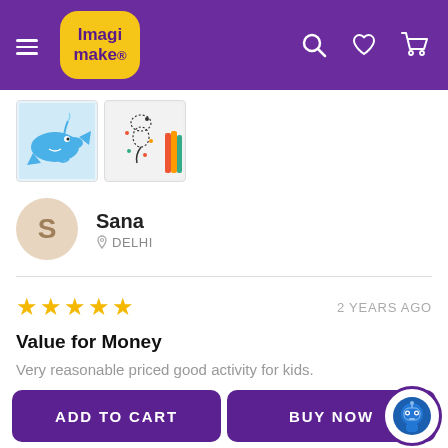[Figure (screenshot): Imagimake e-commerce app header with purple background, yellow logo, hamburger menu, and search/heart/cart icons]
[Figure (photo): Two product thumbnail images: a blue cartoon whale craft and a seahorse dot painting craft]
Sana
📍 DELHI
★★★★★  2 YEARS AGO
Value for Money
Very reasonable priced good activity for kids.
Surai
ADD TO CART
BUY NOW